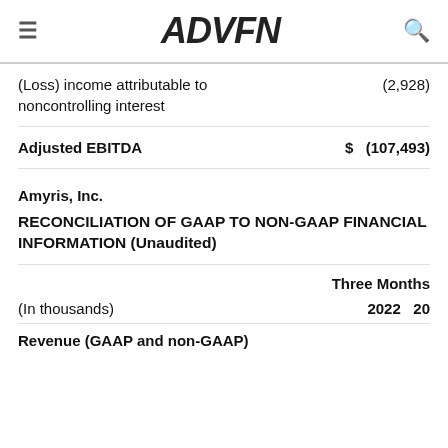ADVFN
|  |  |
| --- | --- |
| (Loss) income attributable to noncontrolling interest | (2,928) |
| Adjusted EBITDA | $ (107,493) |
Amyris, Inc.
RECONCILIATION OF GAAP TO NON-GAAP FINANCIAL INFORMATION (Unaudited)
| (In thousands) | Three Months
2022 | 20... |
| --- | --- | --- |
| Revenue (GAAP and non-GAAP) |  |  |